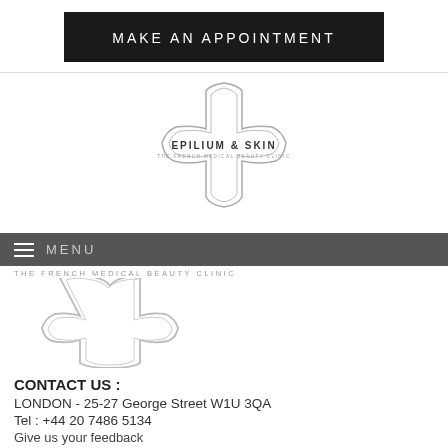MAKE AN APPOINTMENT
[Figure (logo): Epilium & Skin – The French Medical Beauty Clinic logo with cross/plus shape outline]
MENU
THE FRENCH MEDICAL BEAUTY CLINIC
[Figure (logo): Partial Epilium & Skin logo – bottom portion of cross shape]
CONTACT US :
LONDON - 25-27 George Street W1U 3QA
Tel : +44 20 7486 5134
Give us your feedback
[Figure (logo): Care Quality Commission logo – purple Q circle with CareQuality Commission text]